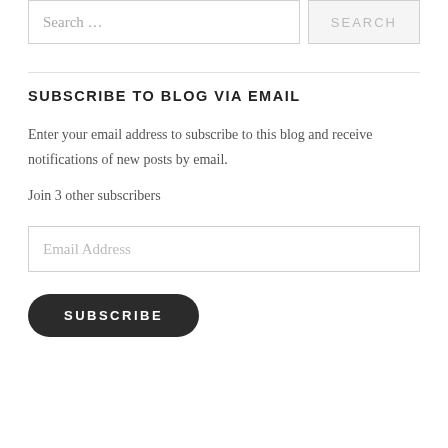[Figure (screenshot): Search input box with placeholder text 'Search ...' and a SEARCH button]
SUBSCRIBE TO BLOG VIA EMAIL
Enter your email address to subscribe to this blog and receive notifications of new posts by email.
Join 3 other subscribers
[Figure (screenshot): Email Address input field]
[Figure (screenshot): SUBSCRIBE button, dark rounded pill shape]